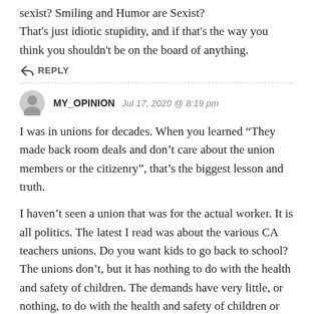sexist? Smiling and Humor are Sexist? That's just idiotic stupidity, and if that's the way you think you shouldn't be on the board of anything.
REPLY
MY_OPINION   Jul 17, 2020 @ 8:19 pm
I was in unions for decades. When you learned “They made back room deals and don’t care about the union members or the citizenry”, that’s the biggest lesson and truth.
I haven’t seen a union that was for the actual worker. It is all politics. The latest I read was about the various CA teachers unions. Do you want kids to go back to school? The unions don’t, but it has nothing to do with the health and safety of children. The demands have very little, or nothing, to do with the health and safety of children or teachers.
REPLY